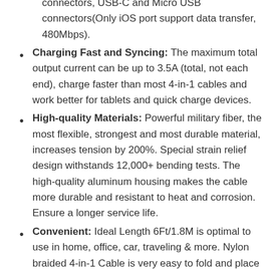connectors, USB-C and Micro USB connectors(Only iOS port support data transfer, 480Mbps).
Charging Fast and Syncing: The maximum total output current can be up to 3.5A (total, not each end), charge faster than most 4-in-1 cables and work better for tablets and quick charge devices.
High-quality Materials: Powerful military fiber, the most flexible, strongest and most durable material, increases tension by 200%. Special strain relief design withstands 12,000+ bending tests. The high-quality aluminum housing makes the cable more durable and resistant to heat and corrosion. Ensure a longer service life.
Convenient: Ideal Length 6Ft/1.8M is optimal to use in home, office, car, traveling & more. Nylon braided 4-in-1 Cable is very easy to fold and place in your handbag, laptop bag, pocket etc.